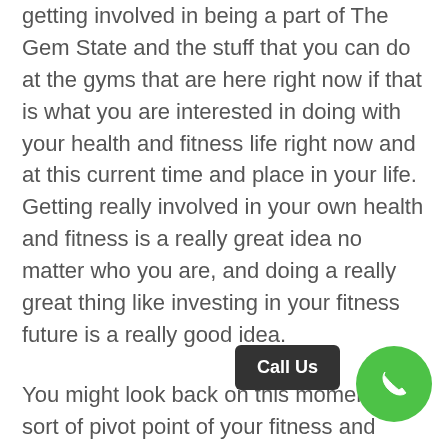getting involved in being a part of The Gem State and the stuff that you can do at the gyms that are here right now if that is what you are interested in doing with your health and fitness life right now and at this current time and place in your life. Getting really involved in your own health and fitness is a really great idea no matter who you are, and doing a really great thing like investing in your fitness future is a really good idea.
You might look back on this moment as a sort of pivot point of your fitness and health journey right now if you really do think about it right now. Getting involved in a lot of the really important things that are a really w... it comes to the places that you really could consider to be an important place to be one of...